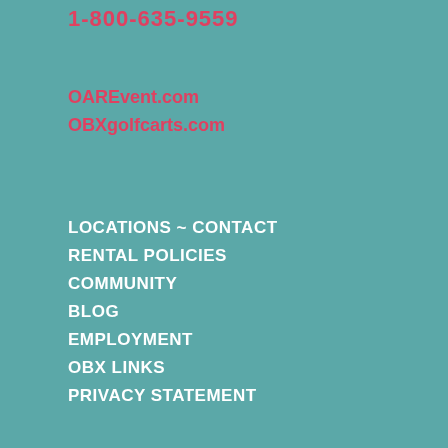1-800-635-9559
OAREvent.com
OBXgolfcarts.com
LOCATIONS ~ CONTACT
RENTAL POLICIES
COMMUNITY
BLOG
EMPLOYMENT
OBX LINKS
PRIVACY STATEMENT
BEACH
BIKES
WATERSPORTS
COTTAGE NEEDS
LINEN
BABY
GOLF CARTS